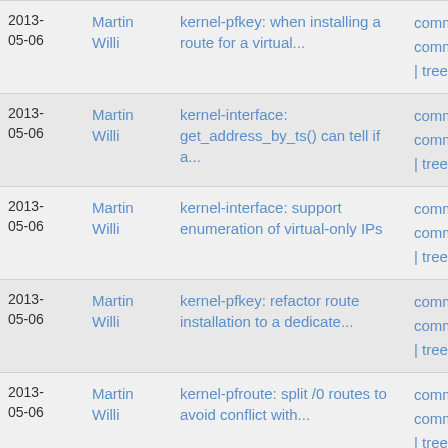| Date | Author | Message | Links |
| --- | --- | --- | --- |
| 2013-05-06 | Martin Willi | kernel-pfkey: when installing a route for a virtual... | commit | commitdiff | tree |
| 2013-05-06 | Martin Willi | kernel-interface: get_address_by_ts() can tell if a... | commit | commitdiff | tree |
| 2013-05-06 | Martin Willi | kernel-interface: support enumeration of virtual-only IPs | commit | commitdiff | tree |
| 2013-05-06 | Martin Willi | kernel-pfkey: refactor route installation to a dedicate... | commit | commitdiff | tree |
| 2013-05-06 | Martin Willi | kernel-pfroute: split /0 routes to avoid conflict with... | commit | commitdiff | tree |
| 2013-05-06 | Martin Willi | kernel-pfkey: check if we have a gateway before comparing... | commit | commitdiff | tree |
| 2013-05-06 | Martin Willi | kernel-pfkey: install route along with input, not forward... | commit | commitdiff | tree |